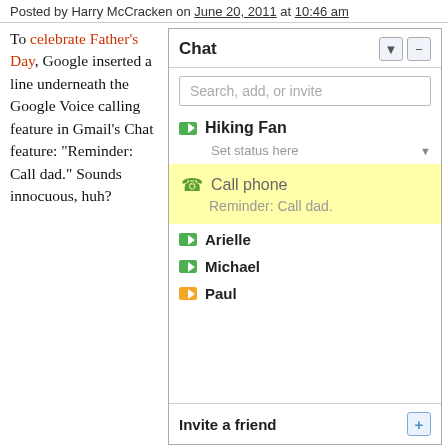Posted by Harry McCracken on June 20, 2011 at 10:46 am
To celebrate Father's Day, Google inserted a line underneath the Google Voice calling feature in Gmail's Chat feature: “Reminder: Call dad.” Sounds innocuous, huh?
[Figure (screenshot): Gmail Chat sidebar screenshot showing Chat header with search box, Hiking Fan contact with 'Set status here', yellow highlighted 'Call phone' row with 'Reminder: Call dad.' text, contacts Arielle, Michael, Paul, and Invite a friend section]